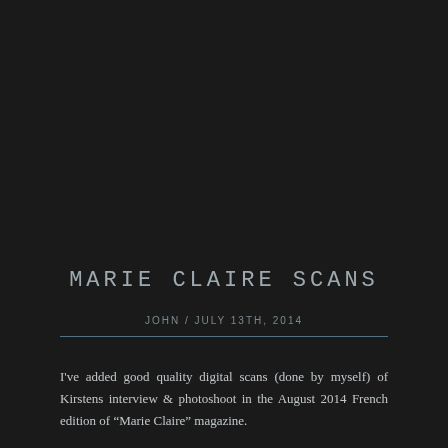MARIE CLAIRE SCANS
JOHN / JULY 13TH, 2014
I've added good quality digital scans (done by myself) of Kirstens interview & photoshoot in the August 2014 French edition of “Marie Claire” magazine.